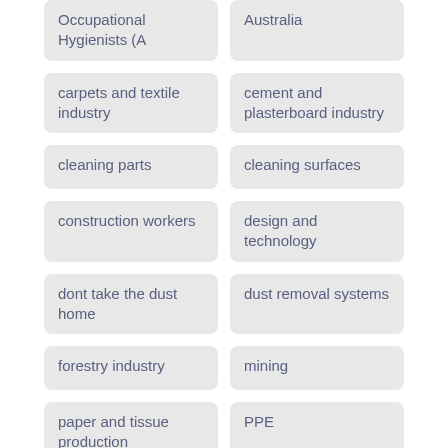Occupational Hygienists (A
Australia
carpets and textile industry
cement and plasterboard industry
cleaning parts
cleaning surfaces
construction workers
design and technology
dont take the dust home
dust removal systems
forestry industry
mining
paper and tissue production
PPE
silica dust ...
...